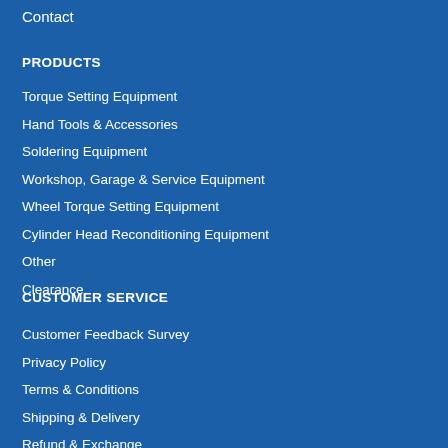Contact
PRODUCTS
Torque Setting Equipment
Hand Tools & Accessories
Soldering Equipment
Workshop, Garage & Service Equipment
Wheel Torque Setting Equipment
Cylinder Head Reconditioning Equipment
Other
Clearance
CUSTOMER SERVICE
Customer Feedback Survey
Privacy Policy
Terms & Conditions
Shipping & Delivery
Refund & Exchange